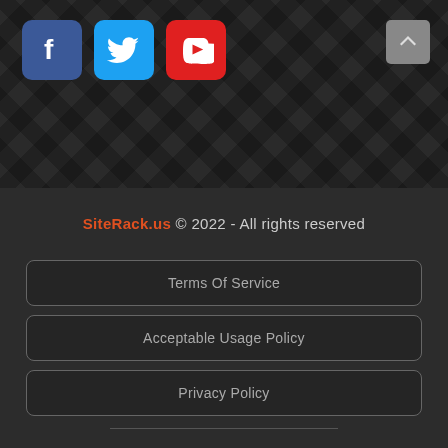[Figure (logo): Facebook logo icon (blue rounded square with white 'f')]
[Figure (logo): Twitter logo icon (light blue rounded square with white bird)]
[Figure (logo): YouTube logo icon (red rounded square with white play button)]
[Figure (other): Back-to-top button (grey square with upward chevron arrow)]
SiteRack.us © 2022 - All rights reserved
Terms Of Service
Acceptable Usage Policy
Privacy Policy